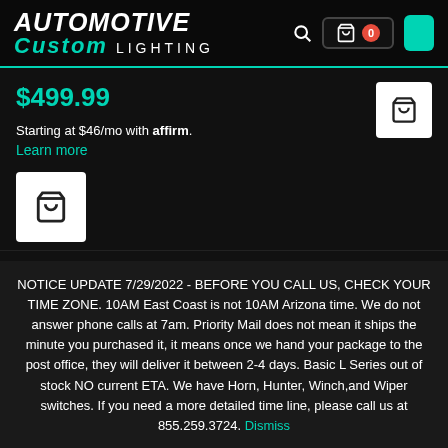[Figure (logo): Automotive Custom Lighting logo with teal/white text on dark background with search icon, cart button showing 0, and green button]
$499.99
Starting at $46/mo with affirm.
Learn more
[Figure (illustration): Shopping bag icon button (large white square)]
[Figure (illustration): Shopping bag icon button (small white square, right side)]
NOTICE UPDATE 7/29/2022 - BEFORE YOU CALL US, CHECK YOUR TIME ZONE. 10AM East Coast is not 10AM Arizona time. We do not answer phone calls at 7am. Priority Mail does not mean it ships the minute you purchased it, it means once we hand your package to the post office, they will deliver it between 2-4 days. Basic L Series out of stock NO current ETA. We have Horn, Hunter, Winch,and Wiper switches. If you need a more detailed time line, please call us at 855.259.3724. Dismiss